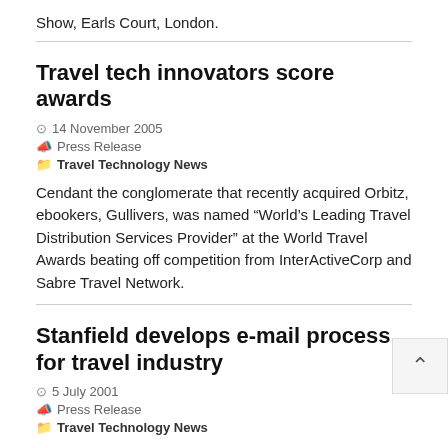Show, Earls Court, London.
Travel tech innovators score awards
14 November 2005
Press Release
Travel Technology News
Cendant the conglomerate that recently acquired Orbitz, ebookers, Gullivers, was named “World’s Leading Travel Distribution Services Provider” at the World Travel Awards beating off competition from InterActiveCorp and Sabre Travel Network.
Stanfield develops e-mail process for travel industry
5 July 2001
Press Release
Travel Technology News
Stanfield Hospitality Consultants LLC (SHC) has announced the development and pending patent rights on a massive, interactive e-mail-based consumer transactions process that will revolutionize the way